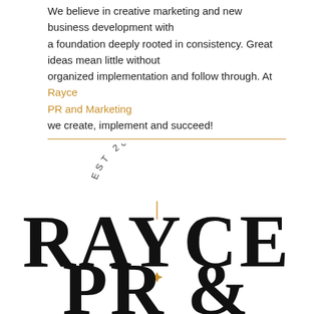We believe in creative marketing and new business development with a foundation deeply rooted in consistency. Great ideas mean little without organized implementation and follow through. At Rayce PR and Marketing we create, implement and succeed!
[Figure (logo): Rayce PR and Marketing logo with 'EST 2009' arched text above, a vertical gold line separator, large serif 'RAYCE' text, a gold four-pointed star, and 'PR &' below]